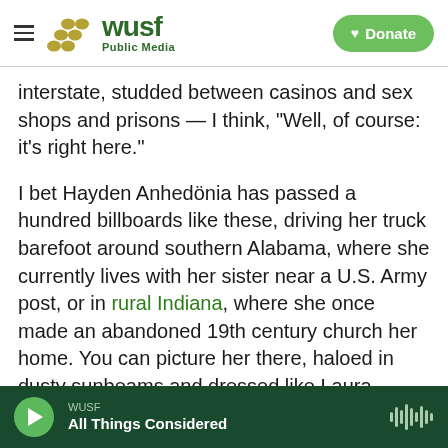WUSF Public Media | Donate
interstate, studded between casinos and sex shops and prisons — I think, "Well, of course: it's right here."
I bet Hayden Anhedönia has passed a hundred billboards like these, driving her truck barefoot around southern Alabama, where she currently lives with her sister near a U.S. Army post, or in rural Indiana, where she once made an abandoned 19th century church her home. You can picture her there, haloed in dusty sunbeams and dressed like Laura Ingalls Wilder with stick-and-pokes, writing long and crushing ballads that feel, to borrow the
WUSF | All Things Considered